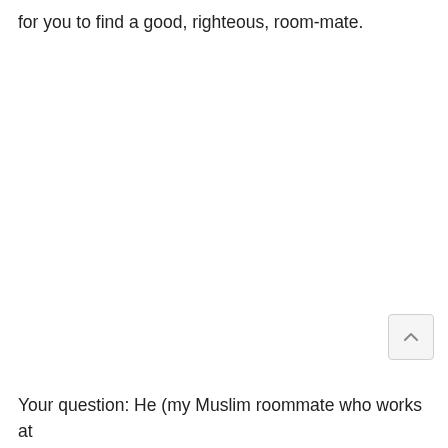for you to find a good, righteous, room-mate.
Your question: He (my Muslim roommate who works at